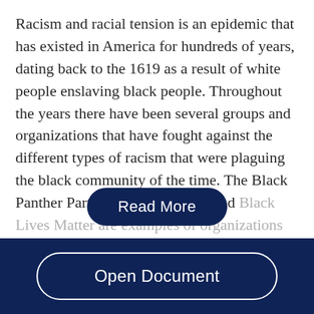Racism and racial tension is an epidemic that has existed in America for hundreds of years, dating back to the 1619 as a result of white people enslaving black people. Throughout the years there have been several groups and organizations that have fought against the different types of racism that were plaguing the black community of the time. The Black Panther Party for Self- Defense and Black Lives Matter are examples of organizations that have fought against racism in their respective decades-the...
Read More
Open Document